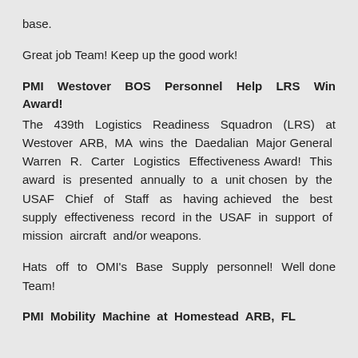base.
Great job Team! Keep up the good work!
PMI Westover BOS Personnel Help LRS Win Award!
The 439th Logistics Readiness Squadron (LRS) at Westover ARB, MA wins the Daedalian Major General Warren R. Carter Logistics Effectiveness Award! This award is presented annually to a unit chosen by the USAF Chief of Staff as having achieved the best supply effectiveness record in the USAF in support of mission aircraft and/or weapons.
Hats off to OMI's Base Supply personnel! Well done Team!
PMI Mobility Machine at Homestead ARB, FL